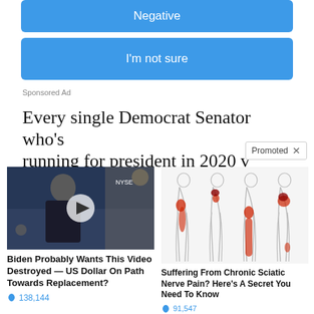[Figure (screenshot): Blue button labeled 'Negative']
[Figure (screenshot): Blue button labeled 'I'm not sure']
Sponsored Ad
Every single Democrat Senator who's running for president in 2020 v
Promoted ×
[Figure (screenshot): Video thumbnail of a man in a dark suit being interviewed on what appears to be a news set, with a play button overlay]
Biden Probably Wants This Video Destroyed — US Dollar On Path Towards Replacement?
🔥 138,144
[Figure (illustration): Medical illustration showing four body silhouettes with red highlighted areas indicating sciatic nerve pain regions along the back, hip, and leg]
Suffering From Chronic Sciatic Nerve Pain? Here's A Secret You Need To Know
🔥 91,547